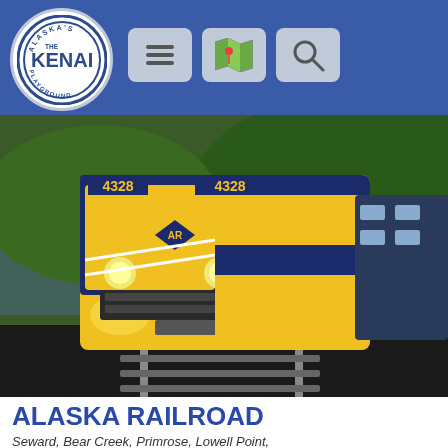[Figure (logo): Alaska's Kenai Playground circular logo in white and blue]
[Figure (screenshot): Navigation bar with three icon buttons: hamburger menu, map, and search magnifier]
[Figure (photo): Alaska Railroad locomotive number 4328 in yellow and blue livery heading toward camera on tracks, with green forested hills and water in background]
ALASKA RAILROAD
Seward, Bear Creek, Primrose, Lowell Point, Transportation Service & Rentals